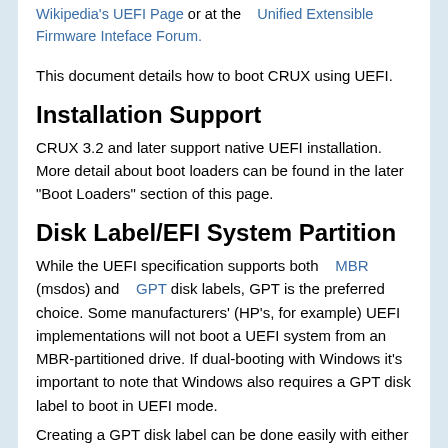Wikipedia's UEFI Page or at the    Unified Extensible Firmware Inteface Forum.
This document details how to boot CRUX using UEFI.
Installation Support
CRUX 3.2 and later support native UEFI installation. More detail about boot loaders can be found in the later "Boot Loaders" section of this page.
Disk Label/EFI System Partition
While the UEFI specification supports both    MBR (msdos) and    GPT disk labels, GPT is the preferred choice. Some manufacturers' (HP's, for example) UEFI implementations will not boot a UEFI system from an MBR-partitioned drive. If dual-booting with Windows it's important to note that Windows also requires a GPT disk label to boot in UEFI mode.
Creating a GPT disk label can be done easily with either parted or gdisk (also known as gptfdisk). gdisk automatically converts MBR disk labels to GPT when run. To create a GPT disk label in parted use the mklabel command before defining partitions: